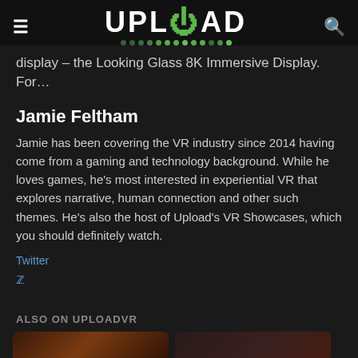UPLOAD
display – the Looking Glass 8K Immersive Display. For…
Jamie Feltham
Jamie has been covering the VR industry since 2014 having come from a gaming and technology background. While he loves games, he's most interested in experiential VR that explores narrative, human connection and other such themes. He's also the host of Upload's VR Showcases, which you should definitely watch.
Twitter
ALSO ON UPLOADVR
[Figure (photo): Two thumbnail images for related articles on UploadVR]